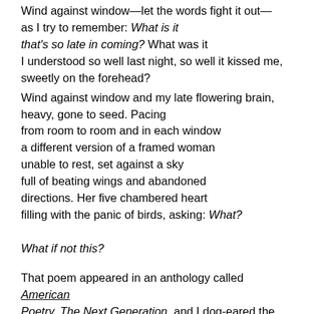Wind against window—let the words fight it out—as I try to remember: What is it that's so late in coming? What was it I understood so well last night, so well it kissed me, sweetly on the forehead?
Wind against window and my late flowering brain, heavy, gone to seed. Pacing from room to room and in each window a different version of a framed woman unable to rest, set against a sky full of beating wings and abandoned directions. Her five chambered heart filling with the panic of birds, asking: What? What if not this?
That poem appeared in an anthology called American Poetry, The Next Generation, and I dog-eared the hell out of that book. Underlines, marginalia, the works. Nobody pointed me to that poem, I just read, read and